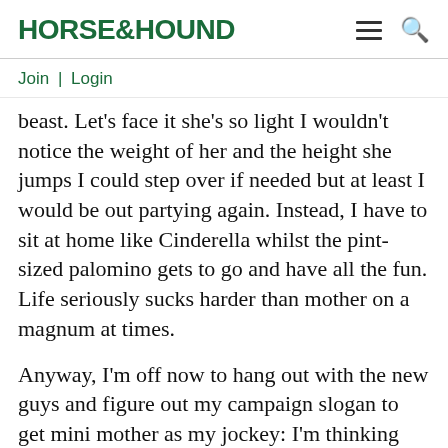HORSE&HOUND
Join | Login
beast. Let's face it she's so light I wouldn't notice the weight of her and the height she jumps I could step over if needed but at least I would be out partying again. Instead, I have to sit at home like Cinderella whilst the pint-sized palomino gets to go and have all the fun. Life seriously sucks harder than mother on a magnum at times.
Anyway, I'm off now to hang out with the new guys and figure out my campaign slogan to get mini mother as my jockey: I'm thinking "Ditch